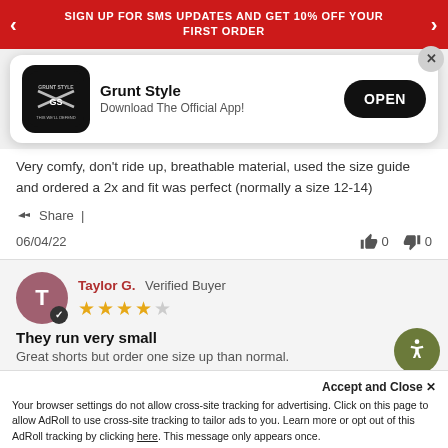SIGN UP FOR SMS UPDATES AND GET 10% OFF YOUR FIRST ORDER
[Figure (screenshot): Grunt Style app install card with logo, app name, subtitle 'Download The Official App!', and OPEN button]
Very comfy, don't ride up, breathable material, used the size guide and ordered a 2x and fit was perfect (normally a size 12-14)
Share |
06/04/22
0  0
Taylor G.  Verified Buyer
They run very small
Great shorts but order one size up than normal.
Accept and Close ×
Your browser settings do not allow cross-site tracking for advertising. Click on this page to allow AdRoll to use cross-site tracking to tailor ads to you. Learn more or opt out of this AdRoll tracking by clicking here. This message only appears once.